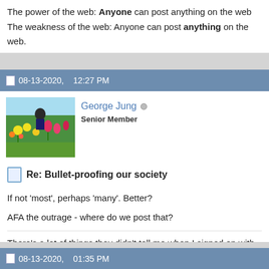The power of the web: Anyone can post anything on the web The weakness of the web: Anyone can post anything on the web.
08-13-2020,   12:27 PM
George Jung  Senior Member
Re: Bullet-proofing our society
If not 'most', perhaps 'many'. Better?
AFA the outrage - where do we post that?
There's a lot of things they didn't tell me when I signed on with this
08-13-2020,   01:35 PM